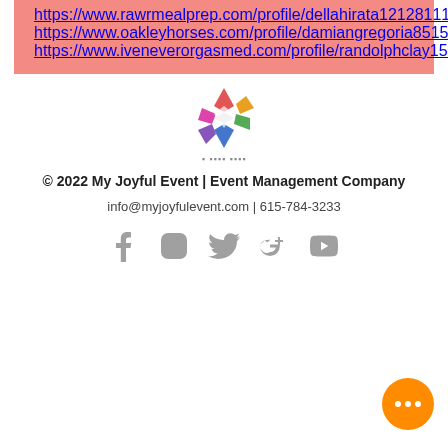https://www.rawrmealprep.com/profile/dellahirata12128111/profile
https://www.oakleyhorses.com/profile/damiangregoria8515087/profile
https://www.iveneverorgasmed.com/profile/randolphclay15747101/profile
[Figure (logo): My Joyful Event logo - colorful diamond/flower shape with blurred text below]
© 2022 My Joyful Event | Event Management Company
info@myjoyfulevent.com | 615-784-3233
[Figure (infographic): Social media icons: Facebook, Instagram, Twitter, Google+, YouTube in grey]